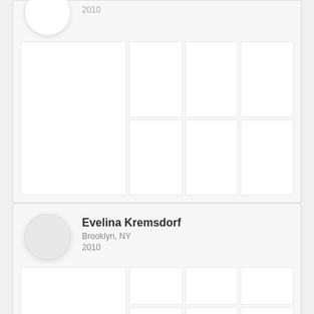[Figure (screenshot): Partial user profile card (top, cropped) showing avatar circle, year 2010, and a 2-row photo grid with 7 cells]
2010
[Figure (screenshot): User profile card for Evelina Kremsdorf, Brooklyn NY, 2010, with avatar circle and photo grid]
Evelina Kremsdorf
Brooklyn, NY
2010